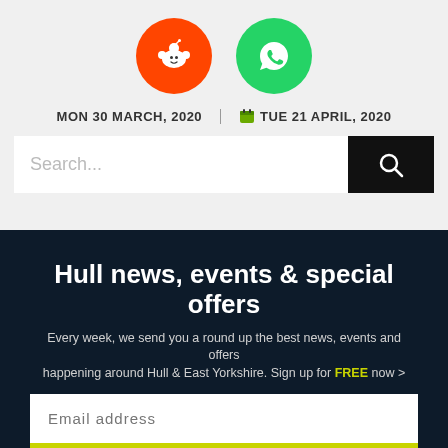[Figure (logo): Reddit icon (white alien logo on orange circle) and WhatsApp icon (white chat bubble on green circle) social sharing buttons]
MON 30 MARCH, 2020 | TUE 21 APRIL, 2020
[Figure (screenshot): Search bar with placeholder text 'Search...' and black search button with magnifying glass icon]
Hull news, events & special offers
Every week, we send you a round up the best news, events and offers happening around Hull & East Yorkshire. Sign up for FREE now >
Email address
SUBSCRIBE NOW